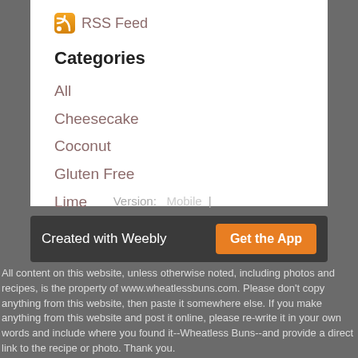RSS Feed
Categories
All
Cheesecake
Coconut
Gluten Free
Lime
Low Carb
Version:   Mobile  |  Web
Created with Weebly
All content on this website, unless otherwise noted, including photos and recipes, is the property of www.wheatlessbuns.com. Please don't copy anything from this website, then paste it somewhere else. If you make anything from this website and post it online, please re-write it in your own words and include where you found it--Wheatless Buns--and provide a direct link to the recipe or photo. Thank you.